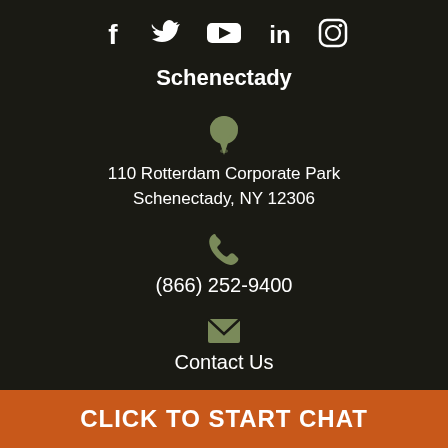[Figure (infographic): Social media icons: Facebook (f), Twitter (bird), YouTube (play button), LinkedIn (in), Instagram (camera)]
Schenectady
[Figure (infographic): Map pin / location icon in olive/sage green color]
110 Rotterdam Corporate Park
Schenectady, NY 12306
[Figure (infographic): Phone handset icon in olive/sage green color]
(866) 252-9400
[Figure (infographic): Envelope / mail icon in olive/sage green color]
Contact Us
CLICK TO START CHAT